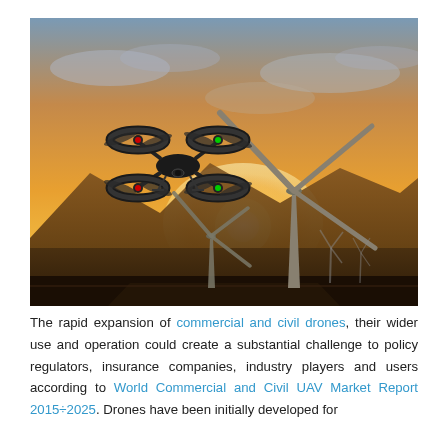[Figure (photo): A consumer quadcopter drone flying in the foreground with wind turbines and a golden sunset sky in the background. Mountains are silhouetted on the horizon.]
The rapid expansion of commercial and civil drones, their wider use and operation could create a substantial challenge to policy regulators, insurance companies, industry players and users according to World Commercial and Civil UAV Market Report 2015÷2025. Drones have been initially developed for